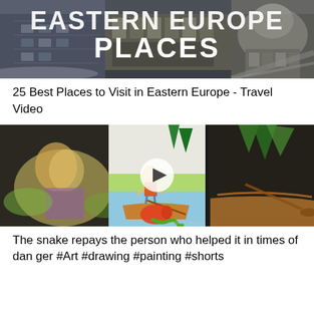[Figure (screenshot): Aerial/overhead view of a city in Eastern Europe with text overlay reading 'EASTERN EUROPE PLACES' in large white letters]
25 Best Places to Visit in Eastern Europe - Travel Video
[Figure (screenshot): A children's drawing/painting showing a snake, a boy, a fish, and a boat near water with plants. A play button overlay is visible in the center.]
The snake repays the person who helped it in times of danger #Art #drawing #painting #shorts